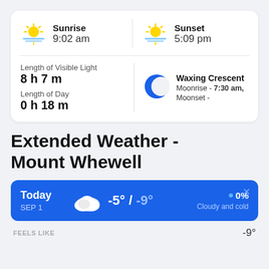[Figure (infographic): Sunrise icon with sun and horizon rays, yellow/orange color]
Sunrise
9:02 am
[Figure (infographic): Sunset icon with sun setting below horizon, yellow/orange color]
Sunset
5:09 pm
Length of Visible Light
8 h 7 m
Length of Day
0 h 18 m
[Figure (infographic): Waxing crescent moon icon, blue circle with crescent cutout]
Waxing Crescent
Moonrise - 7:30 am,
Moonset -
Extended Weather -
Mount Whewell
Today
SEP 1
-5° / -9°
0%
Cloudy and cold
FEELS LIKE
-9°